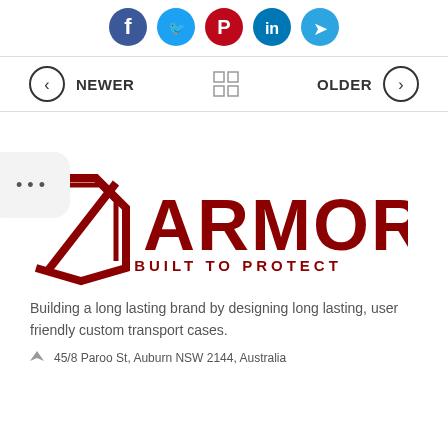[Figure (infographic): Social media share icons: Facebook (blue), Twitter (light blue), Pinterest (red), LinkedIn (dark blue), Telegram (teal)]
NEWER   [grid icon]   OLDER
[Figure (other): Floating bubble with three dots (ellipsis menu)]
[Figure (logo): ARMOR - BUILT TO PROTECT logo in dark red]
Building a long lasting brand by designing long lasting, user friendly custom transport cases.
45/8 Paroo St, Auburn NSW 2144, Australia